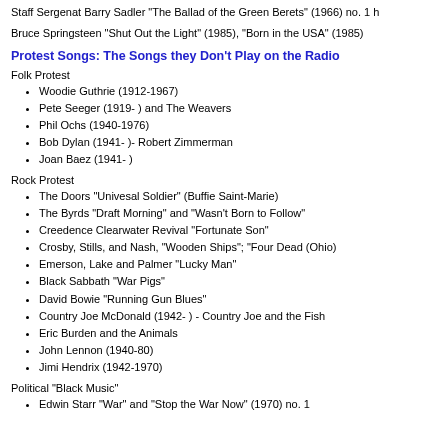Staff Sergenat Barry Sadler "The Ballad of the Green Berets" (1966) no. 1 h
Bruce Springsteen "Shut Out the Light" (1985), "Born in the USA" (1985)
Protest Songs: The Songs they Don't Play on the Radio
Folk Protest
Woodie Guthrie (1912-1967)
Pete Seeger (1919- ) and The Weavers
Phil Ochs (1940-1976)
Bob Dylan (1941- )- Robert Zimmerman
Joan Baez (1941- )
Rock Protest
The Doors "Univesal Soldier" (Buffie Saint-Marie)
The Byrds "Draft Morning" and "Wasn't Born to Follow"
Creedence Clearwater Revival "Fortunate Son"
Crosby, Stills, and Nash, "Wooden Ships"; "Four Dead (Ohio)
Emerson, Lake and Palmer "Lucky Man"
Black Sabbath "War Pigs"
David Bowie "Running Gun Blues"
Country Joe McDonald (1942- ) - Country Joe and the Fish
Eric Burden and the Animals
John Lennon (1940-80)
Jimi Hendrix (1942-1970)
Political "Black Music"
Edwin Starr "War" and "Stop the War Now" (1970) no. 1